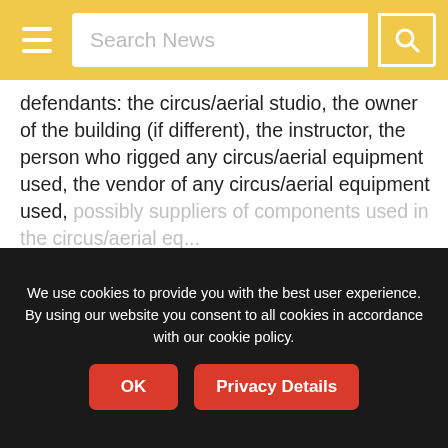Search News
defendants: the circus/aerial studio, the owner of the building (if different), the instructor, the person who rigged any circus/aerial equipment used, the vendor of any circus/aerial equipment used, possibly suppliers of components used in the circus/aerial eq...
To access exclusive PRO content ...
[Figure (screenshot): Dark panel with book/open-book icon and text 'Become a CircusTalkPro']
We use cookies to provide you with the best user experience. By using our website you consent to all cookies in accordance with our cookie policy.
OK  Privacy Details